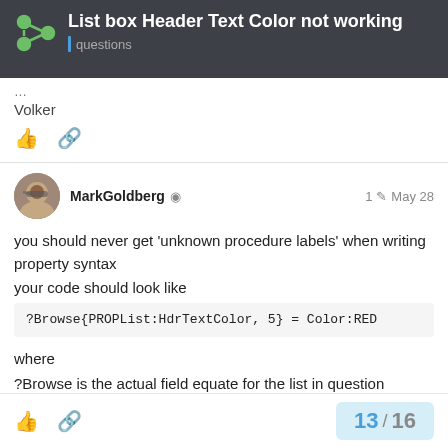List box Header Text Color not working | questions
Volker
MarkGoldberg  1  May 28
you should never get 'unknown procedure labels' when writing property syntax
your code should look like
?Browse{PROPList:HdrTextColor, 5} = Color:RED
where
?Browse is the actual field equate for the list in question
5 is the column number
RED is replaced with something more appropriate
13 / 16